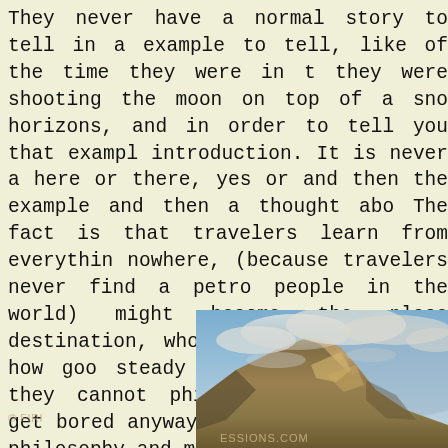They never have a normal story to tell in a example to tell, like of the time they were in t they were shooting the moon on top of a sno horizons, and in order to tell you that exampl introduction. It is never a here or there, yes or and then the example and then a thought abo The fact is that travelers learn from everythin nowhere, (because travelers never find a petro people in the world) might become the place destination, who they love or simply how goo steady place to call home, they cannot philos they'd probably get bored anyway, they don't place to philosophy and meditate, to understan
[Figure (photo): A mountain partially obscured by clouds, with golden-brown slopes and a blue sky background. The image shows a dramatic mountain landscape with mist or clouds around the peak.]